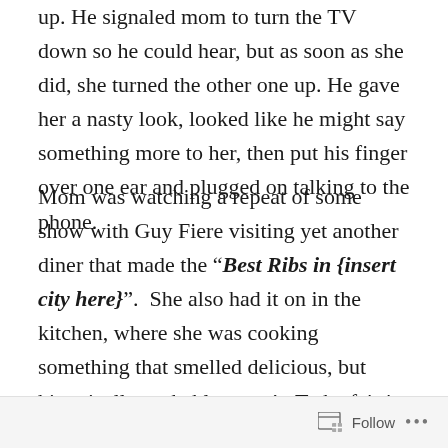up. He signaled mom to turn the TV down so he could hear, but as soon as she did, she turned the other one up. He gave her a nasty look, looked like he might say something more to her, then put his finger over one ear and plugged on talking to the phone.
Mom was watching a repeat of some show with Guy Fiere visiting yet another diner that made the “Best Ribs in {insert city here}”.  She also had it on in the kitchen, where she was cooking something that smelled delicious, but historically probably wasn’t. To be fair it might have been better if Dad had skipped the middleman and married Guy Fiere. We’d eat better.
Suz was holed up in her room, well into what would
Follow